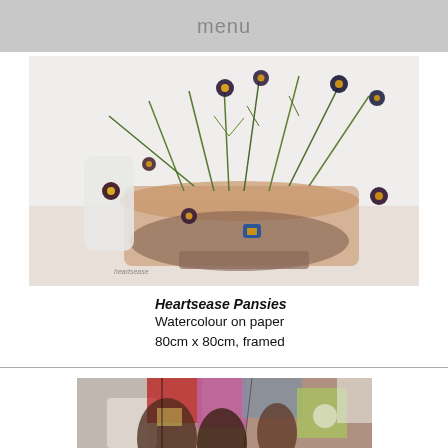menu
[Figure (illustration): Watercolour painting of heartsease pansies in a terracotta pot, with dark purple and blue flowers on long stems against a light background.]
Heartsease Pansies
Watercolour on paper
80cm x 80cm, framed
[Figure (illustration): Abstract or semi-abstract painting with bold colours including red, pink, purple, green, brown, grey and white, partially visible at the bottom of the page.]